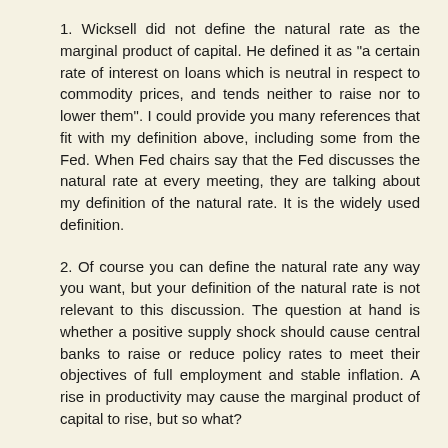1. Wicksell did not define the natural rate as the marginal product of capital. He defined it as "a certain rate of interest on loans which is neutral in respect to commodity prices, and tends neither to raise nor to lower them". I could provide you many references that fit with my definition above, including some from the Fed. When Fed chairs say that the Fed discusses the natural rate at every meeting, they are talking about my definition of the natural rate. It is the widely used definition.
2. Of course you can define the natural rate any way you want, but your definition of the natural rate is not relevant to this discussion. The question at hand is whether a positive supply shock should cause central banks to raise or reduce policy rates to meet their objectives of full employment and stable inflation. A rise in productivity may cause the marginal product of capital to rise, but so what?